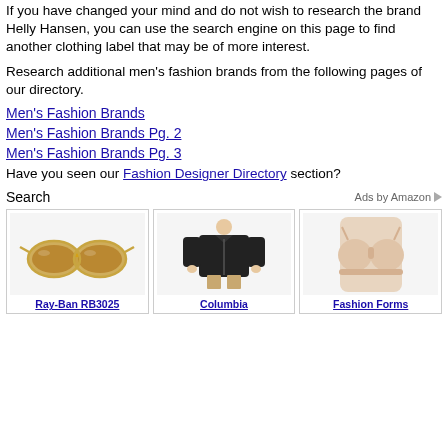If you have changed your mind and do not wish to research the brand Helly Hansen, you can use the search engine on this page to find another clothing label that may be of more interest.
Research additional men's fashion brands from the following pages of our directory.
Men's Fashion Brands
Men's Fashion Brands Pg. 2
Men's Fashion Brands Pg. 3
Have you seen our Fashion Designer Directory section?
Search
[Figure (other): Ads by Amazon section with three product cards: Ray-Ban RB3025 sunglasses, Columbia jacket, Fashion Forms bra]
Ray-Ban RB3025
Columbia
Fashion Forms